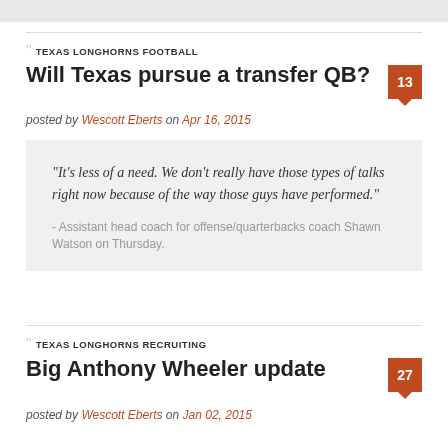TEXAS LONGHORNS FOOTBALL
Will Texas pursue a transfer QB?
posted by Wescott Eberts on Apr 16, 2015
"It's less of a need. We don't really have those types of talks right now because of the way those guys have performed."
- Assistant head coach for offense/quarterbacks coach Shawn Watson on Thursday.
TEXAS LONGHORNS RECRUITING
Big Anthony Wheeler update
posted by Wescott Eberts on Jan 02, 2015